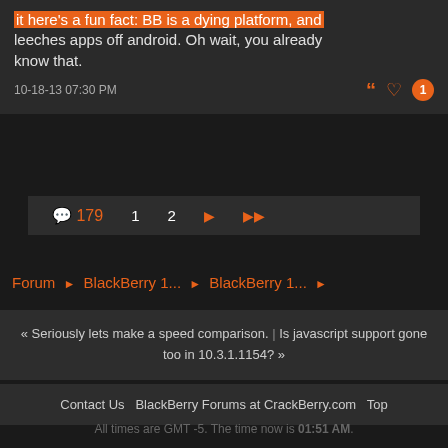it here's a fun fact: BB is a dying platform, and leeches apps off android. Oh wait, you already know that.
10-18-13 07:30 PM
179 comments, pages: 1 2 > >>
Forum ▸ BlackBerry 1... ▸ BlackBerry 1... ▸
« Seriously lets make a speed comparison. | Is javascript support gone too in 10.3.1.1154? »
Contact Us   BlackBerry Forums at CrackBerry.com   Top
All times are GMT -5. The time now is 01:51 AM.